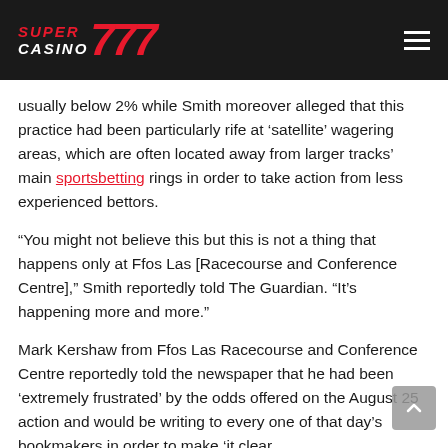SUPER CASINO 777
usually below 2% while Smith moreover alleged that this practice had been particularly rife at 'satellite' wagering areas, which are often located away from larger tracks' main sportsbetting rings in order to take action from less experienced bettors.
“You might not believe this but this is not a thing that happens only at Ffos Las [Racecourse and Conference Centre],” Smith reportedly told The Guardian. “It’s happening more and more.”
Mark Kershaw from Ffos Las Racecourse and Conference Centre reportedly told the newspaper that he had been ‘extremely frustrated’ by the odds offered on the August 25 action and would be writing to every one of that day’s bookmakers in order to make ‘it clear